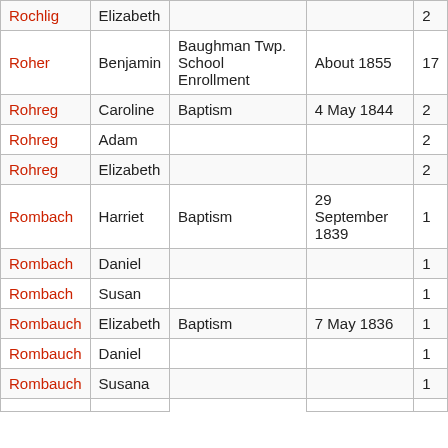| Surname | First Name | Record Type | Date | Vol |
| --- | --- | --- | --- | --- |
| Rochlig | Elizabeth |  |  | 2 |
| Roher | Benjamin | Baughman Twp. School Enrollment | About 1855 | 17 |
| Rohreg | Caroline | Baptism | 4 May 1844 | 2 |
| Rohreg | Adam |  |  | 2 |
| Rohreg | Elizabeth |  |  | 2 |
| Rombach | Harriet | Baptism | 29 September 1839 | 1 |
| Rombach | Daniel |  |  | 1 |
| Rombach | Susan |  |  | 1 |
| Rombauch | Elizabeth | Baptism | 7 May 1836 | 1 |
| Rombauch | Daniel |  |  | 1 |
| Rombauch | Susana |  |  | 1 |